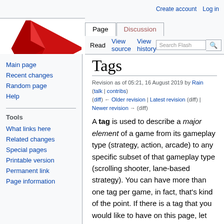Create account  Log in
[Figure (logo): Flash wiki red arrow/chevron logo]
Tags
Revision as of 05:21, 16 August 2019 by Rain (talk | contribs)
(diff) ← Older revision | Latest revision (diff) | Newer revision → (diff)
A tag is used to describe a major element of a game from its gameplay type (strategy, action, arcade) to any specific subset of that gameplay type (scrolling shooter, lane-based strategy). You can have more than one tag per game, in fact, that's kind of the point. If there is a tag that you would like to have on this page, let someone with a color name know on Discord. We don't want tags that will only apply to one or two